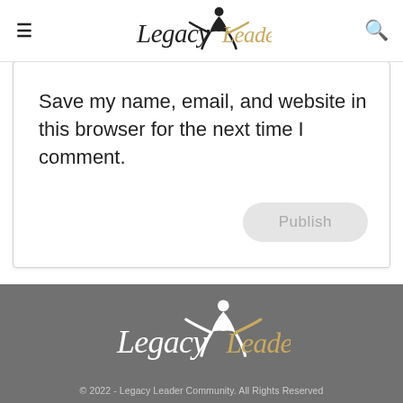Legacy Leader — navigation header with menu icon, logo, and search icon
Save my name, email, and website in this browser for the next time I comment.
Publish
[Figure (logo): Legacy Leader logo in footer — white and gold script text with figure icon]
© 2022 - Legacy Leader Community. All Rights Reserved
Community Guidelines · Disclaimer · Privacy · Terms